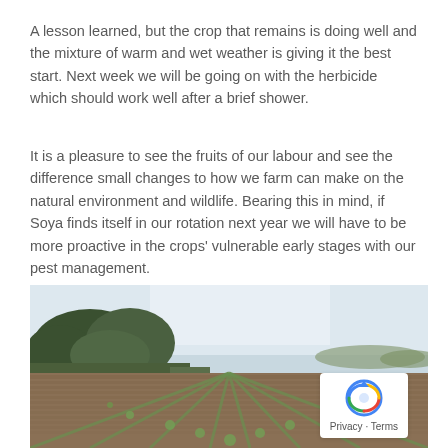A lesson learned, but the crop that remains is doing well and the mixture of warm and wet weather is giving it the best start. Next week we will be going on with the herbicide which should work well after a brief shower.
It is a pleasure to see the fruits of our labour and see the difference small changes to how we farm can make on the natural environment and wildlife. Bearing this in mind, if Soya finds itself in our rotation next year we will have to be more proactive in the crops' vulnerable early stages with our pest management.
[Figure (photo): A wide agricultural field with rows of young crops in the foreground, trees on the left, and an open sky in the background.]